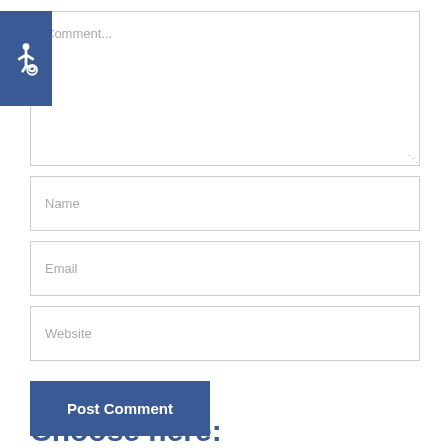[Figure (illustration): Accessibility icon — white wheelchair symbol on dark blue square background]
Comment...
Name
Email
Website
Post Comment
Choose here: